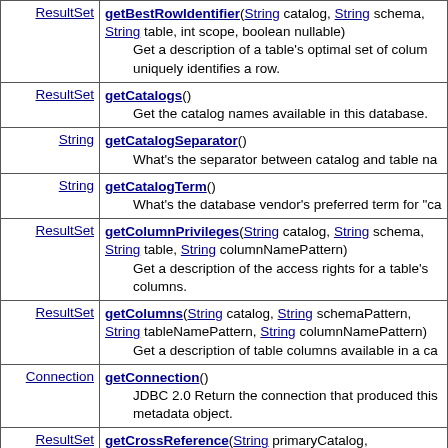| Return Type | Method and Description |
| --- | --- |
| ResultSet | getBestRowIdentifier(String catalog, String schema, String table, int scope, boolean nullable)
 Get a description of a table's optimal set of column uniquely identifies a row. |
| ResultSet | getCatalogs()
 Get the catalog names available in this database. |
| String | getCatalogSeparator()
 What's the separator between catalog and table na... |
| String | getCatalogTerm()
 What's the database vendor's preferred term for "ca... |
| ResultSet | getColumnPrivileges(String catalog, String schema, String table, String columnNamePattern)
 Get a description of the access rights for a table's columns. |
| ResultSet | getColumns(String catalog, String schemaPattern, String tableNamePattern, String columnNamePattern)
 Get a description of table columns available in a ca... |
| Connection | getConnection()
 JDBC 2.0 Return the connection that produced this metadata object. |
| ResultSet | getCrossReference(String primaryCatalog, String primarySchema, String primaryTable, |